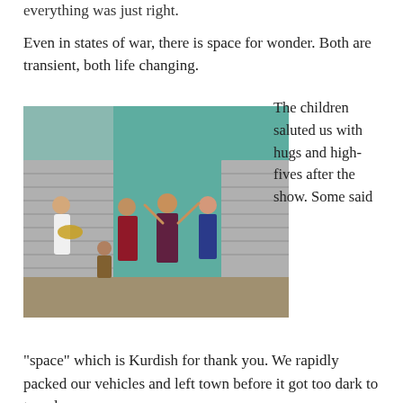everything was just right.
Even in states of war, there is space for wonder. Both are transient, both life changing.
[Figure (photo): Outdoor performance scene with performers in colorful costumes dancing and playing guitar in front of a building with teal/green walls and metal shutters. Multiple people including a guitarist on the left and dancers in the center and right of the image.]
The children saluted us with hugs and high-fives after the show. Some said
“space” which is Kurdish for thank you. We rapidly packed our vehicles and left town before it got too dark to travel.